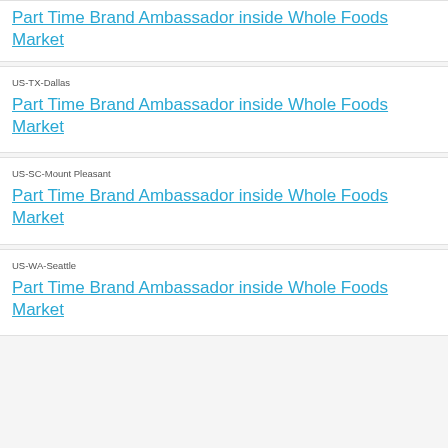Part Time Brand Ambassador inside Whole Foods Market
US-TX-Dallas
Part Time Brand Ambassador inside Whole Foods Market
US-SC-Mount Pleasant
Part Time Brand Ambassador inside Whole Foods Market
US-WA-Seattle
Part Time Brand Ambassador inside Whole Foods Market